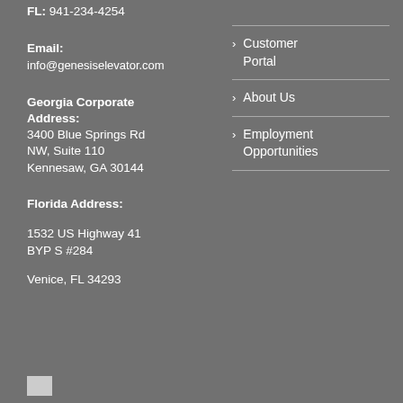FL: 941-234-4254
Email:
info@genesiselevator.com
Georgia Corporate Address:
3400 Blue Springs Rd NW, Suite 110
Kennesaw, GA 30144
Florida Address:
1532 US Highway 41 BYP S #284
Venice, FL 34293
Customer Portal
About Us
Employment Opportunities